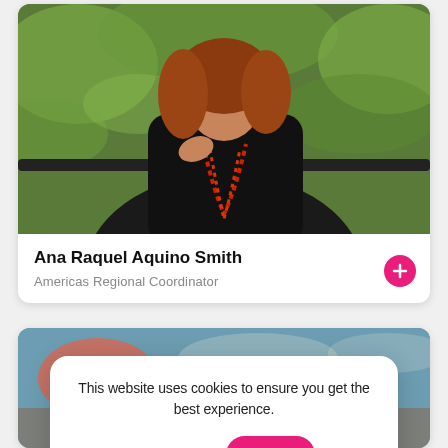[Figure (photo): Profile photo of Ana Raquel Aquino Smith, a woman with red/auburn hair wearing a black top and red beaded necklace, standing outdoors with green foliage in the background]
Ana Raquel Aquino Smith
Americas Regional Coordinator
[Figure (photo): Partial view of a second profile card with a blurred indoor background, partially obscured by cookie consent modal]
This website uses cookies to ensure you get the best experience.
Learn More
Got it